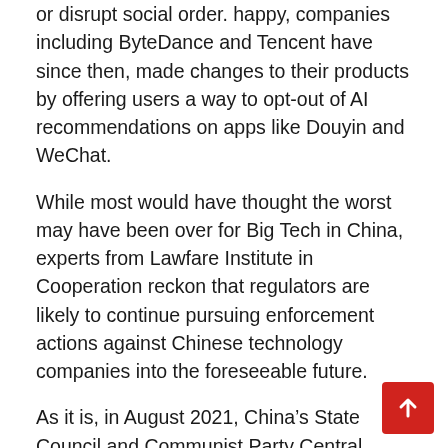or disrupt social order. happy, companies including ByteDance and Tencent have since then, made changes to their products by offering users a way to opt-out of AI recommendations on apps like Douyin and WeChat.
While most would have thought the worst may have been over for Big Tech in China, experts from Lawfare Institute in Cooperation reckon that regulators are likely to continue pursuing enforcement actions against Chinese technology companies into the foreseeable future.
As it is, in August 2021, China's State Council and Communist Party Central Committee passed a promising five-year plan to tackle monopolies, review regulations related to the digital economy and